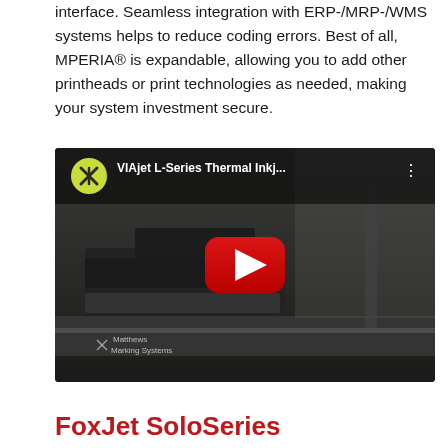interface. Seamless integration with ERP-/MRP-/WMS systems helps to reduce coding errors. Best of all, MPERIA® is expandable, allowing you to add other printheads or print technologies as needed, making your system investment secure.
[Figure (screenshot): YouTube video thumbnail for 'VIAjet L-Series Thermal Inkj...' showing industrial printing equipment from Matthews Marking Systems, with a red play button in the center.]
FoxJet SoloSeries